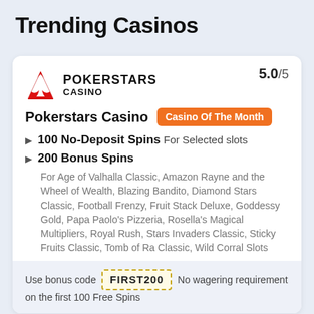Trending Casinos
5.0/5
[Figure (logo): PokerStars Casino logo with red spade icon and bold text POKERSTARS CASINO]
Pokerstars Casino   Casino Of The Month
100 No-Deposit Spins For Selected slots
200 Bonus Spins
For Age of Valhalla Classic, Amazon Rayne and the Wheel of Wealth, Blazing Bandito, Diamond Stars Classic, Football Frenzy, Fruit Stack Deluxe, Goddessy Gold, Papa Paolo's Pizzeria, Rosella's Magical Multipliers, Royal Rush, Stars Invaders Classic, Sticky Fruits Classic, Tomb of Ra Classic, Wild Corral Slots
Use bonus code FIRST200 No wagering requirement on the first 100 Free Spins